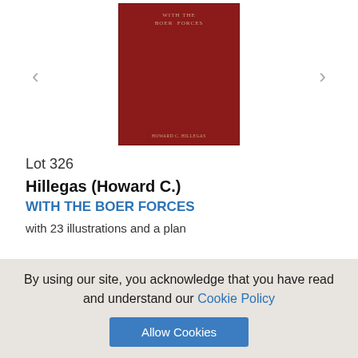[Figure (photo): Red hardcover book titled 'WITH THE BOER FORCES' by Howard C. Hillegas, shown as a book cover image in a slideshow with left and right navigation arrows]
Lot 326
Hillegas (Howard C.)
WITH THE BOER FORCES
with 23 illustrations and a plan
Sold for... (partially cut off)
By using our site, you acknowledge that you have read and understand our Cookie Policy
Allow Cookies